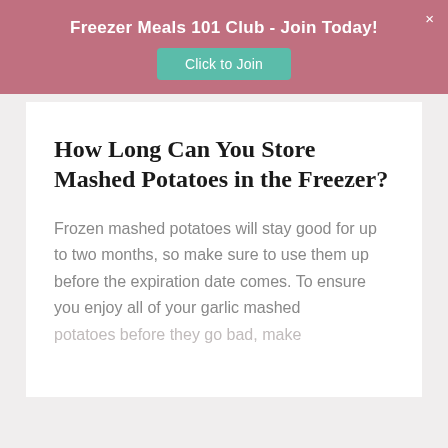Freezer Meals 101 Club - Join Today!
How Long Can You Store Mashed Potatoes in the Freezer?
Frozen mashed potatoes will stay good for up to two months, so make sure to use them up before the expiration date comes. To ensure you enjoy all of your garlic mashed potatoes before they go bad, make